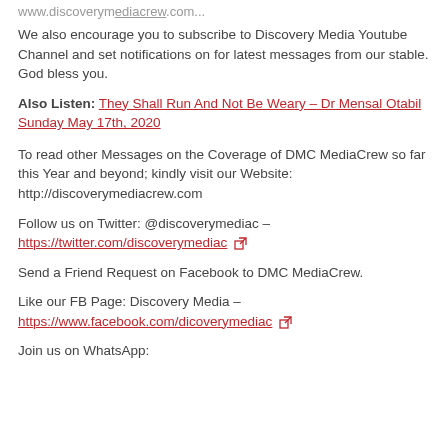www.discoverymediacrew.com...
We also encourage you to subscribe to Discovery Media Youtube Channel and set notifications on for latest messages from our stable. God bless you.
Also Listen: They Shall Run And Not Be Weary – Dr Mensal Otabil Sunday May 17th, 2020
To read other Messages on the Coverage of DMC MediaCrew so far this Year and beyond; kindly visit our Website: http://discoverymediacrew.com
Follow us on Twitter: @discoverymediac – https://twitter.com/discoverymediac
Send a Friend Request on Facebook to DMC MediaCrew.
Like our FB Page: Discovery Media – https://www.facebook.com/dicoverymediac
Join us on WhatsApp: